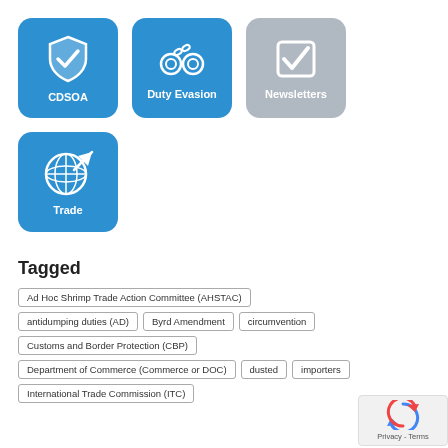[Figure (infographic): Three icon tiles in a grid row: CDSOA (blue, shield with checkmark), Duty Evasion (blue, handcuffs), Newsletters (grey, checkbox with checkmark)]
[Figure (infographic): One icon tile: Trade (blue, globe with arrow)]
Tagged
Ad Hoc Shrimp Trade Action Committee (AHSTAC)
antidumping duties (AD)
Byrd Amendment
circumvention
Customs and Border Protection (CBP)
Department of Commerce (Commerce or DOC)
dusted
importers
International Trade Commission (ITC)